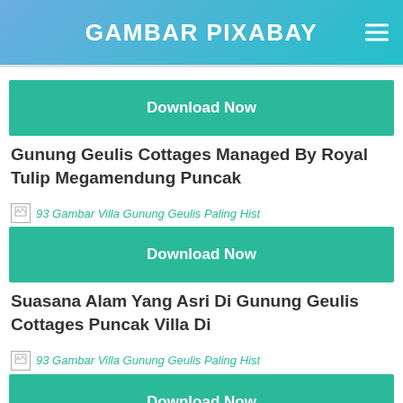GAMBAR PIXABAY
[Figure (screenshot): Download Now button (teal/green)]
Gunung Geulis Cottages Managed By Royal Tulip Megamendung Puncak
[Figure (screenshot): Broken image placeholder with alt text: 93 Gambar Villa Gunung Geulis Paling Hist]
[Figure (screenshot): Download Now button (teal/green)]
Suasana Alam Yang Asri Di Gunung Geulis Cottages Puncak Villa Di
[Figure (screenshot): Broken image placeholder with alt text: 93 Gambar Villa Gunung Geulis Paling Hist]
[Figure (screenshot): Download Now button (teal/green)]